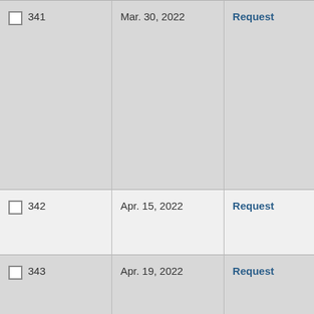| ID | Date | Action |
| --- | --- | --- |
| 341 | Mar. 30, 2022 | Request |
| 342 | Apr. 15, 2022 | Request |
| 343 | Apr. 19, 2022 | Request |